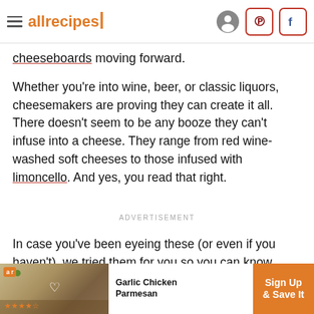allrecipes
cheeseboards moving forward.
Whether you're into wine, beer, or classic liquors, cheesemakers are proving they can create it all. There doesn't seem to be any booze they can't infuse into a cheese. They range from red wine-washed soft cheeses to those infused with limoncello. And yes, you read that right.
ADVERTISEMENT
In case you've been eyeing these (or even if you haven't), we tried them for you so you can know
[Figure (screenshot): Bottom ad banner for Garlic Chicken Parmesan recipe with Sign Up & Save It CTA]